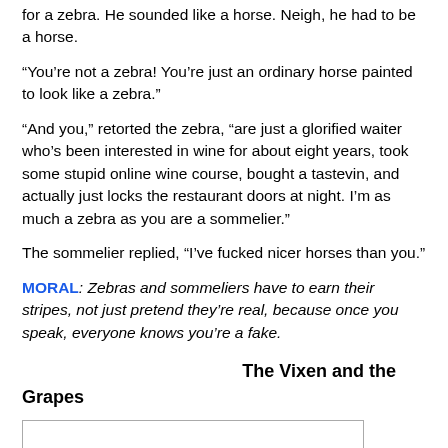for a zebra. He sounded like a horse. Neigh, he had to be a horse.
“You’re not a zebra! You’re just an ordinary horse painted to look like a zebra.”
“And you,” retorted the zebra, “are just a glorified waiter who’s been interested in wine for about eight years, took some stupid online wine course, bought a tastevin, and actually just locks the restaurant doors at night. I’m as much a zebra as you are a sommelier.”
The sommelier replied, “I’ve fucked nicer horses than you.”
MORAL: Zebras and sommeliers have to earn their stripes, not just pretend they’re real, because once you speak, everyone knows you’re a fake.
The Vixen and the Grapes